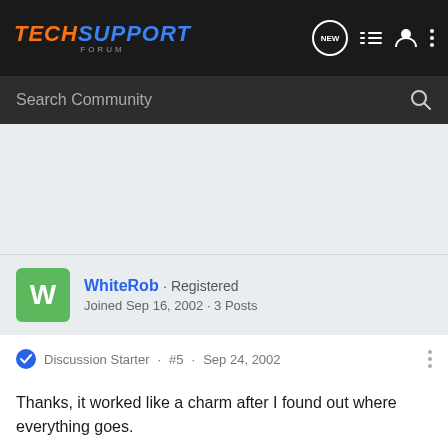[Figure (logo): TechSupport Forum logo in orange and blue italic text on dark background]
Search Community
WhiteRob · Registered
Joined Sep 16, 2002 · 3 Posts
Discussion Starter · #5 · Sep 24, 2002
Thanks, it worked like a charm after I found out where everything goes.